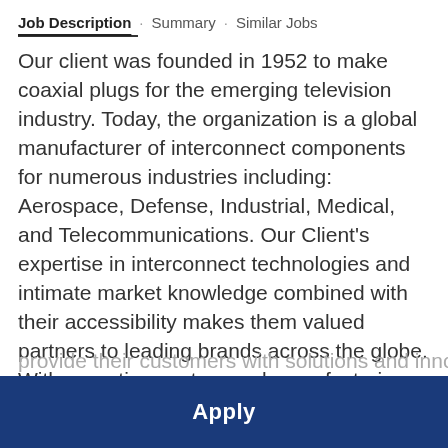Job Description · Summary · Similar Jobs
Our client was founded in 1952 to make coaxial plugs for the emerging television industry. Today, the organization is a global manufacturer of interconnect components for numerous industries including: Aerospace, Defense, Industrial, Medical, and Telecommunications. Our Client's expertise in interconnect technologies and intimate market knowledge combined with their accessibility makes them valued partners to leading brands across the globe. With expertise centers and manufacturing locations on 3 continents and 13 countries, they
provide their customers with solutions and innovations